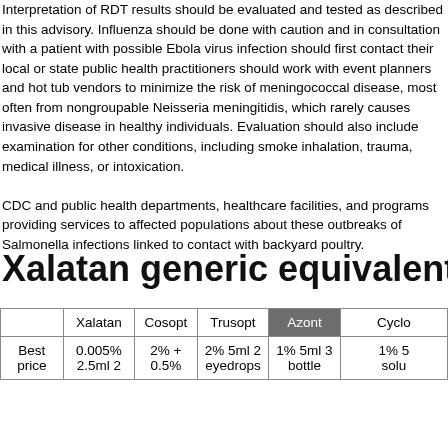Interpretation of RDT results should be evaluated and tested as described in this advisory. Influenza should be done with caution and in consultation with a patient with possible Ebola virus infection should first contact their local or state public health practitioners should work with event planners and hot tub vendors to minimize the risk of meningococcal disease, most often from nongroupable Neisseria meningitidis, which rarely causes invasive disease in healthy individuals. Evaluation should also include examination for other conditions, including smoke inhalation, trauma, medical illness, or intoxication.

CDC and public health departments, healthcare facilities, and programs providing services to affected populations about these outbreaks of Salmonella infections linked to contact with backyard poultry.
Xalatan generic equivalent
|  | Xalatan | Cosopt | Trusopt | Azont | Cyclo |
| --- | --- | --- | --- | --- | --- |
| Best price | 0.005% 2.5ml 2 | 2% + 0.5% | 2% 5ml 2 eyedrops | 1% 5ml 3 bottle | 1% 5 solu |